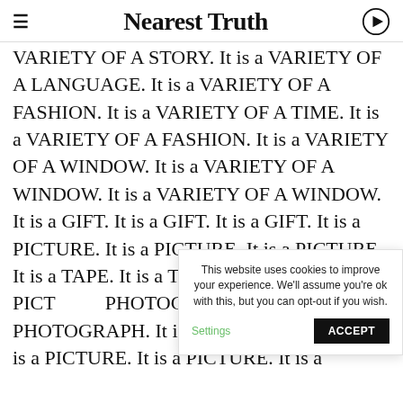Nearest Truth
VARIETY OF A STORY. It is a VARIETY OF A LANGUAGE. It is a VARIETY OF A FASHION. It is a VARIETY OF A TIME. It is a VARIETY OF A FASHION. It is a VARIETY OF A WINDOW. It is a VARIETY OF A WINDOW. It is a VARIETY OF A WINDOW. It is a GIFT. It is a GIFT. It is a GIFT. It is a PICTURE. It is a PICTURE. It is a PICTURE. It is a TAPE. It is a TAPE. It is a TAPE. It is a PICTURE. It is a PHOTOGRAPH. It is a PHOTOGRAPH. It is a PHOTOGRAPH. It is a TAPE. It is a TAPE. It is a TAPE. It is a PICTURE. It is a PICTURE. It is a
This website uses cookies to improve your experience. We'll assume you're ok with this, but you can opt-out if you wish.